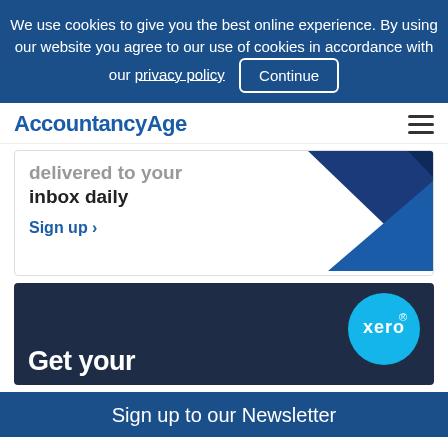We use cookies to give you the best online experience. By using our website you agree to our use of cookies in accordance with our privacy policy  Continue
AccountancyAge
delivered to your inbox daily
Sign up >
[Figure (illustration): Blue geometric triangle diagonal graphic on the right side of the newsletter signup card]
[Figure (logo): Xero logo in a cyan circle on dark navy background with text 'Get your']
Sign up to our Newsletter